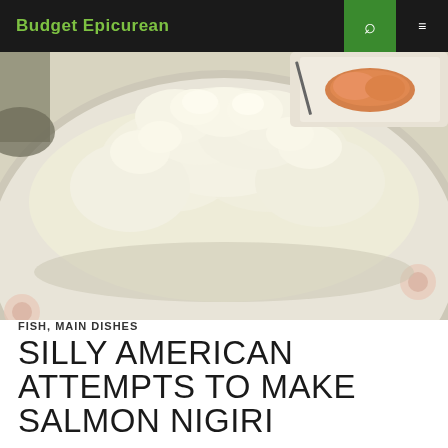Budget Epicurean
[Figure (photo): Close-up photo of a mound of white sushi rice piled on a decorative plate with pink floral pattern, with a tray of salmon visible in the upper right background]
FISH, MAIN DISHES
SILLY AMERICAN ATTEMPTS TO MAKE SALMON NIGIRI
JUNE 17, 2014  BUDGETEPICUREAN  1 COMMENT